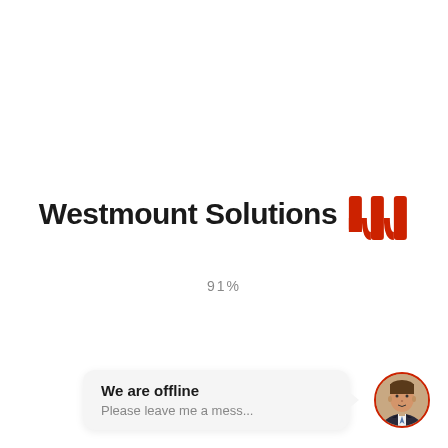[Figure (logo): Westmount Solutions logo with red stylized W icon and bold black text]
91%
We are offline
Please leave me a mess...
[Figure (photo): Circular avatar photo of a man in a suit with a red border]